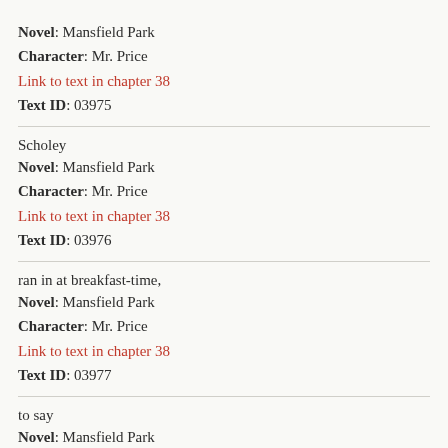Novel: Mansfield Park
Character: Mr. Price
Link to text in chapter 38
Text ID: 03975
Scholey
Novel: Mansfield Park
Character: Mr. Price
Link to text in chapter 38
Text ID: 03976
ran in at breakfast-time,
Novel: Mansfield Park
Character: Mr. Price
Link to text in chapter 38
Text ID: 03977
to say
Novel: Mansfield Park
Character: Mr. Price
Link to text in chapter 38